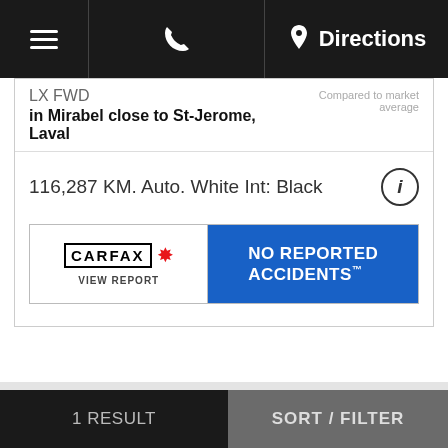≡  📞  📍 Directions
LX FWD
in Mirabel close to St-Jerome, Laval
Compared to market average
116,287 KM. Auto. White Int: Black
[Figure (screenshot): CARFAX Canada banner showing 'NO REPORTED ACCIDENTS' with VIEW REPORT link]
< 1 >
Our stock by brand
1 RESULT    SORT / FILTER